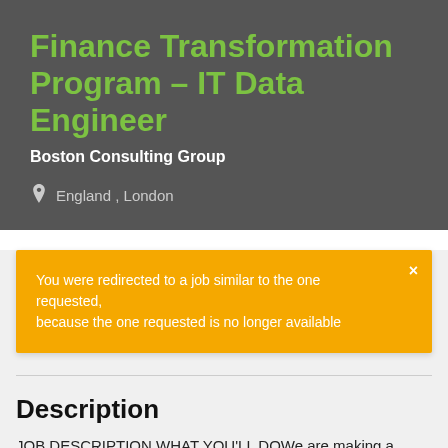Finance Transformation Program – IT Data Engineer
Boston Consulting Group
England , London
You were redirected to a job similar to the one requested, because the one requested is no longer available
Description
JOB DESCRIPTION WHAT YOU'LL DOWe are making a